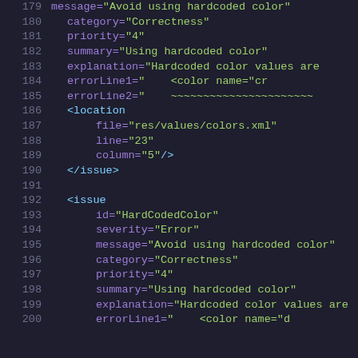Code listing showing XML issue elements with attributes: message, category, priority, summary, explanation, errorLine1, errorLine2, location (file, line, column), and /issue closing tags, lines 179-200